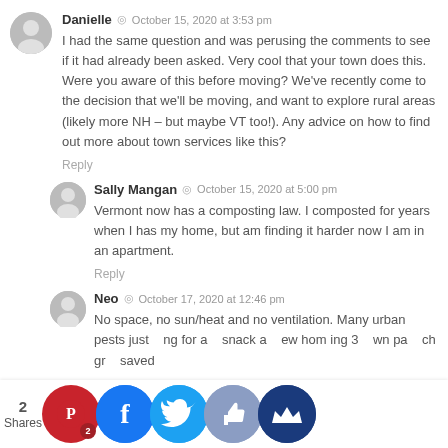Danielle · October 15, 2020 at 3:53 pm
I had the same question and was perusing the comments to see if it had already been asked. Very cool that your town does this. Were you aware of this before moving? We've recently come to the decision that we'll be moving, and want to explore rural areas (likely more NH – but maybe VT too!). Any advice on how to find out more about town services like this?
Reply
Sally Mangan · October 15, 2020 at 5:00 pm
Vermont now has a composting law. I composted for years when I has my home, but am finding it harder now I am in an apartment.
Reply
Neo · October 17, 2020 at 12:46 pm
No space, no sun/heat and no ventilation. Many urban pests just looking for a snack and a new home. Finding 3 own pa ch gr saved
2 Shares